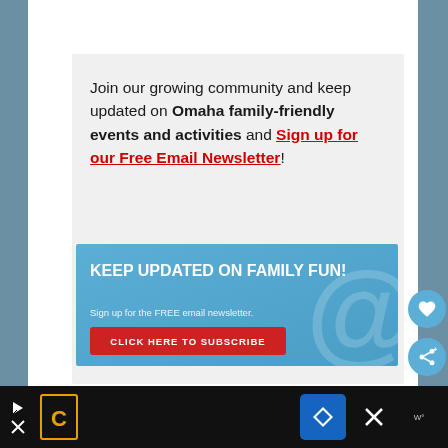Join our growing community and keep updated on Omaha family-friendly events and activities and Sign up for our Free Email Newsletter!
[Figure (infographic): Newsletter signup banner with blue background, '@' symbol watermark, bold white text 'KEEP UPDATED ON FAMILY FUN!', subtitle 'Sign up for the FREE email newsletter.' and a red button 'CLICK HERE TO SUBSCRIBE']
PLEASE NOTE: As things continue to rapidly change during this unusual time, it is alway...